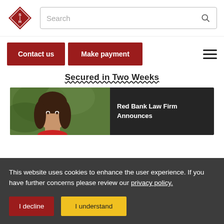[Figure (logo): SH diamond-shaped logo with red background and white S|H letters]
Search
Contact us
Make payment
Secured in Two Weeks
[Figure (photo): Photo of a young woman with brown hair, partially visible, next to a dark panel with text 'Red Bank Law Firm Announces']
Red Bank Law Firm Announces
This website uses cookies to enhance the user experience. If you have further concerns please review our privacy policy.
I decline
I understand